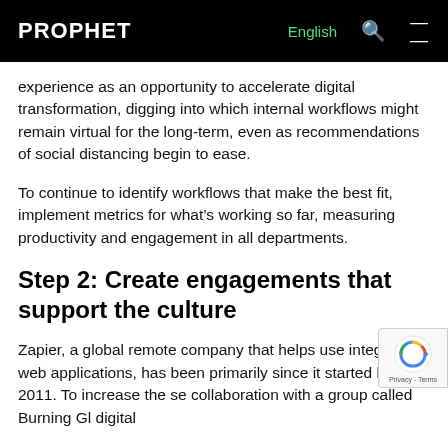PROPHET  English
experience as an opportunity to accelerate digital transformation, digging into which internal workflows might remain virtual for the long-term, even as recommendations of social distancing begin to ease.
To continue to identify workflows that make the best fit, implement metrics for what’s working so far, measuring productivity and engagement in all departments.
Step 2: Create engagements that support the culture
Zapier, a global remote company that helps use integrate web applications, has been primarily since it started back in 2011. To increase the se collaboration with a group called Burning Gl digital